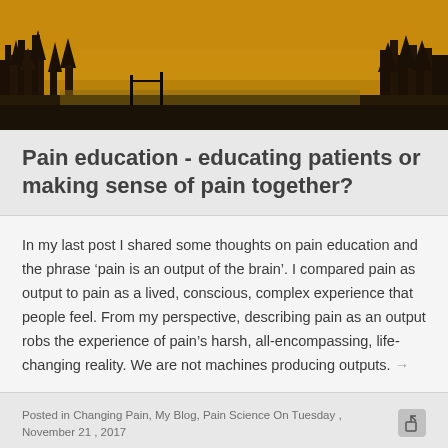[Figure (photo): Outdoor forest/field scene with golden amber tones, dark trees silhouetted against a warm sky]
Pain education - educating patients or making sense of pain together?
In my last post I shared some thoughts on pain education and the phrase ‘pain is an output of the brain’. I compared pain as output to pain as a lived, conscious, complex experience that people feel. From my perspective, describing pain as an output robs the experience of pain’s harsh, all-encompassing, life-changing reality. We are not machines producing outputs. →
Posted in Changing Pain, My Blog, Pain Science On Tuesday , November 21 , 2017
[Figure (photo): Blue sky with white clouds, partial view at bottom of page]